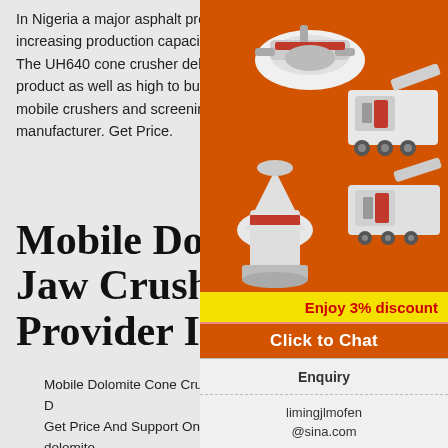In Nigeria a major asphalt producer is increasing production capacity to cope with The UH640 cone crusher delivers quality product as well as high to buy a fleet of new mobile crushers and screening units from the manufacturer. Get Price.
Mobile Dolomite Jaw Crusher Provider In Nigeria
Mobile Dolomite Cone Crusher For Sale D... Get Price And Support Online mobile dolomite... crusher for sale nigeria mobile dolomite jaw cr... provider in nigeri Read More Cone Crusher P... Manufacture pyb900 cone crusher Liming hea... industry is specialized in the design manufactu... supply of crushing equipment used in mining i... The product range of our company.
[Figure (illustration): Orange advertisement banner showing industrial mining/crushing machines (cone crushers, jaw crushers) against an orange background]
Enjoy 3% discount
Click to Chat
Enquiry
limingjlmofen@sina.com